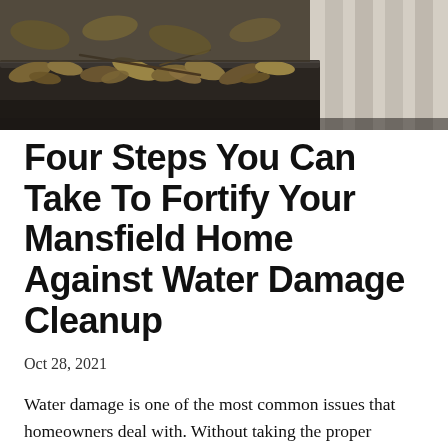[Figure (photo): Close-up photo of a rain gutter filled with dead leaves and debris, with blurred striped fabric visible in the background.]
Four Steps You Can Take To Fortify Your Mansfield Home Against Water Damage Cleanup
Oct 28, 2021
Water damage is one of the most common issues that homeowners deal with. Without taking the proper precautions, the odds are that your home will suffer from water damage at some point. From our cleaning and restoration professionals at Shambaugh Cleaning in Mansfield, Ohio below are four tips to help prevent water damage...